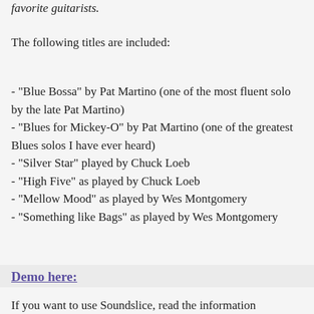favorite guitarists.
The following titles are included:
- "Blue Bossa" by Pat Martino (one of the most fluent solo by the late Pat Martino)
- "Blues for Mickey-O" by Pat Martino (one of the greatest Blues solos I have ever heard)
- "Silver Star" played by Chuck Loeb
- "High Five" as played by Chuck Loeb
- "Mellow Mood" as played by Wes Montgomery
- "Something like Bags" as played by Wes Montgomery
Demo here:
If you want to use Soundslice, read the information